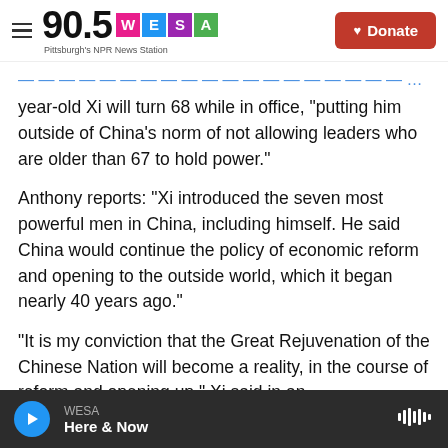90.5 WESA Pittsburgh's NPR News Station | Donate
year-old Xi will turn 68 while in office, "putting him outside of China's norm of not allowing leaders who are older than 67 to hold power."
Anthony reports: "Xi introduced the seven most powerful men in China, including himself. He said China would continue the policy of economic reform and opening to the outside world, which it began nearly 40 years ago."
"It is my conviction that the Great Rejuvenation of the Chinese Nation will become a reality, in the course of reform and opening up," Xi said in an
WESA | Here & Now